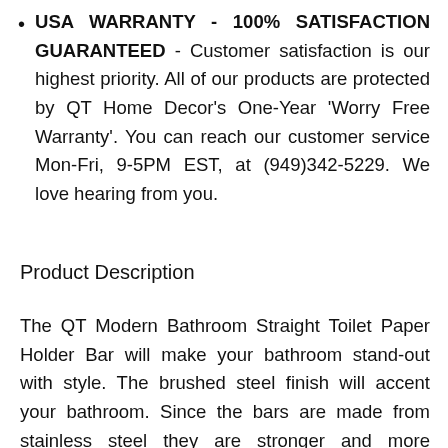USA WARRANTY - 100% SATISFACTION GUARANTEED - Customer satisfaction is our highest priority. All of our products are protected by QT Home Decor's One-Year 'Worry Free Warranty'. You can reach our customer service Mon-Fri, 9-5PM EST, at (949)342-5229. We love hearing from you.
Product Description
The QT Modern Bathroom Straight Toilet Paper Holder Bar will make your bathroom stand-out with style. The brushed steel finish will accent your bathroom. Since the bars are made from stainless steel they are stronger and more durable than other